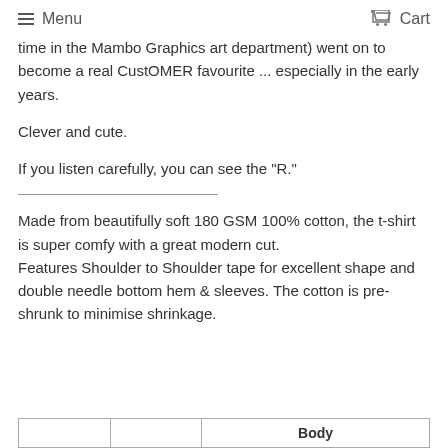Menu   Cart
time in the Mambo Graphics art department) went on to become a real CustOMER favourite ... especially in the early years.

Clever and cute.

If you listen carefully, you can see the "R."

Made from beautifully soft 180 GSM 100% cotton, the t-shirt is super comfy with a great modern cut.
Features Shoulder to Shoulder tape for excellent shape and double needle bottom hem & sleeves. The cotton is pre-shrunk to minimise shrinkage.
|  |  | Body |
| --- | --- | --- |